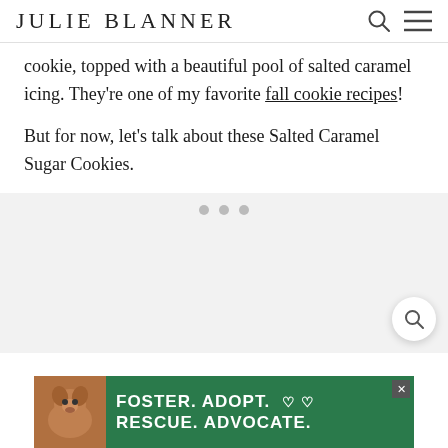JULIE BLANNER
cookie, topped with a beautiful pool of salted caramel icing. They’re one of my favorite fall cookie recipes!
But for now, let’s talk about these Salted Caramel Sugar Cookies.
[Figure (photo): Large image placeholder area (light gray), with a floating search button (magnifying glass icon in a white circle) in the bottom-right corner. Decorative dots visible at center.]
[Figure (other): Advertisement banner: green background with a dog photo on the left. White bold text reads: FOSTER. ADOPT. heart symbols / RESCUE. ADVOCATE. Close button in top-right corner.]